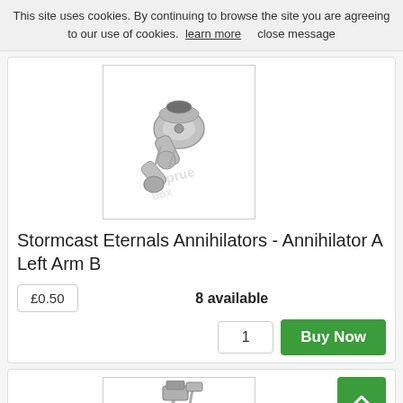This site uses cookies. By continuing to browse the site you are agreeing to our use of cookies.  learn more      close message
[Figure (photo): Photo of a grey plastic Stormcast Eternals Annihilator left arm B miniature piece with a watermark overlay]
Stormcast Eternals Annihilators - Annihilator A Left Arm B
£0.50
8 available
1
Buy Now
[Figure (photo): Photo of grey plastic Stormcast Eternals miniature weapon/arm parts with a watermark overlay]